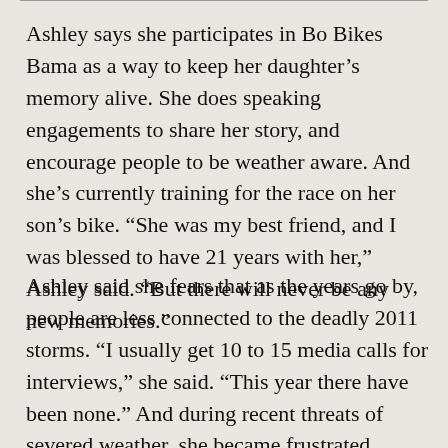Ashley says she participates in Bo Bikes Bama as a way to keep her daughter’s memory alive. She does speaking engagements to share her story, and encourage people to be weather aware. And she’s currently training for the race on her son’s bike. “She was my best friend, and I was blessed to have 21 years with her,” Ashley said. “But there will never be any new memories.”
Ashley said she fears that as the years go by, people are less connected to the deadly 2011 storms. “I usually get 10 to 15 media calls for interviews,” she said. “This year there have been none.” And during recent threats of severed weather, she became frustrated seeing people